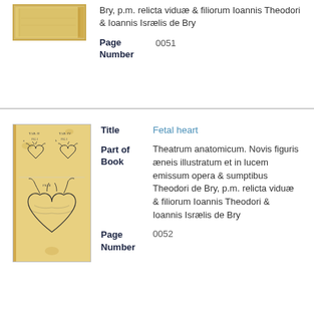[Figure (photo): Partial view of an old book/publication with yellowish-tan cover, cropped at top]
Bry, p.m. relicta viduæ & filiorum Ioannis Theodori & Ioannis Isrælis de Bry
Page Number: 0051
[Figure (photo): Old anatomical book page showing illustrations of fetal hearts - multiple heart diagrams with Latin annotations]
Title: Fetal heart
Part of Book: Theatrum anatomicum. Novis figuris æneis illustratum et in lucem emissum opera & sumptibus Theodori de Bry, p.m. relicta viduæ & filiorum Ioannis Theodori & Ioannis Isrælis de Bry
Page Number: 0052